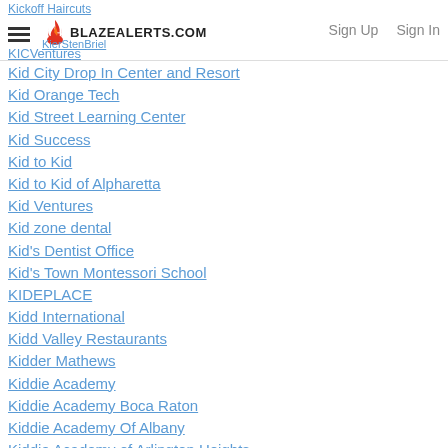BLAZEALERTS.COM | Sign Up | Sign In
Kickoff Haircuts
KierStenBriel (partially visible)
KICVentures
Kid City Drop In Center and Resort
Kid Orange Tech
Kid Street Learning Center
Kid Success
Kid to Kid
Kid to Kid of Alpharetta
Kid Ventures
Kid zone dental
Kid's Dentist Office
Kid's Town Montessori School
KIDEPLACE
Kidd International
Kidd Valley Restaurants
Kidder Mathews
Kiddie Academy
Kiddie Academy Boca Raton
Kiddie Academy Of Albany
Kiddie Academy of Arlington Heights
Kiddie Academy of Elkridge
Kiddie Academy of Greenlawn (partially visible)